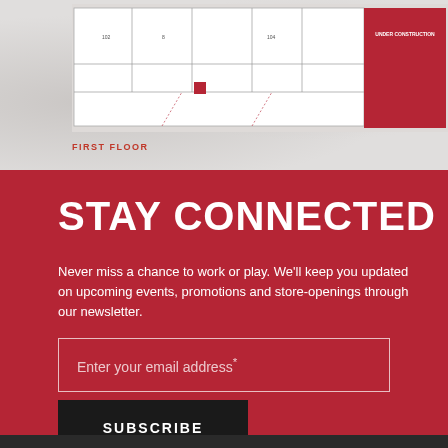[Figure (engineering-diagram): Partial floor plan / building layout diagram showing room outlines, numbered spaces, and a red highlighted section. Top portion of a first floor plan.]
FIRST FLOOR
STAY CONNECTED
Never miss a chance to work or play. We'll keep you updated on upcoming events, promotions and store-openings through our newsletter.
Enter your email address*
SUBSCRIBE